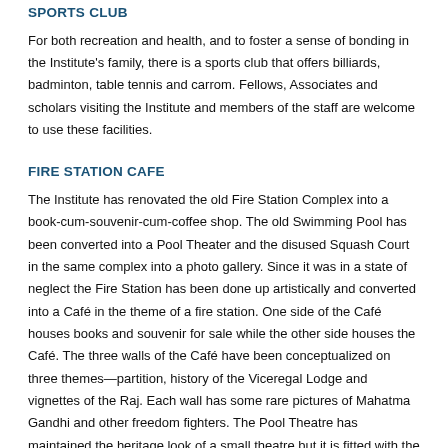SPORTS CLUB
For both recreation and health, and to foster a sense of bonding in the Institute's family, there is a sports club that offers billiards, badminton, table tennis and carrom. Fellows, Associates and scholars visiting the Institute and members of the staff are welcome to use these facilities.
FIRE STATION CAFE
The Institute has renovated the old Fire Station Complex into a book-cum-souvenir-cum-coffee shop. The old Swimming Pool has been converted into a Pool Theater and the disused Squash Court in the same complex into a photo gallery. Since it was in a state of neglect the Fire Station has been done up artistically and converted into a Café in the theme of a fire station. One side of the Café houses books and souvenir for sale while the other side houses the Café. The three walls of the Café have been conceptualized on three themes—partition, history of the Viceregal Lodge and vignettes of the Raj. Each wall has some rare pictures of Mahatma Gandhi and other freedom fighters. The Pool Theatre has maintained the heritage look of a small theatre but it is fitted with the latest sound and lighting systems.